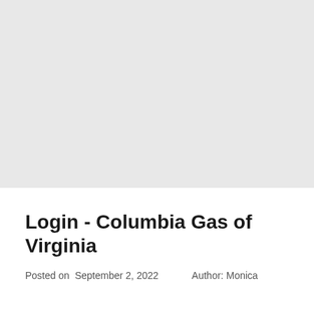[Figure (other): Large light gray rectangular area taking up the top portion of the page, approximately two-thirds of the page height, with no visible content.]
Login - Columbia Gas of Virginia
Posted on  September 2, 2022     Author: Monica